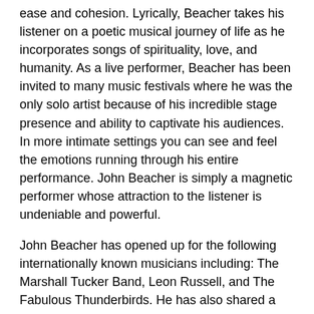ease and cohesion. Lyrically, Beacher takes his listener on a poetic musical journey of life as he incorporates songs of spirituality, love, and humanity. As a live performer, Beacher has been invited to many music festivals where he was the only solo artist because of his incredible stage presence and ability to captivate his audiences. In more intimate settings you can see and feel the emotions running through his entire performance. John Beacher is simply a magnetic performer whose attraction to the listener is undeniable and powerful.
John Beacher has opened up for the following internationally known musicians including: The Marshall Tucker Band, Leon Russell, and The Fabulous Thunderbirds. He has also shared a stage with these up-and-coming and established artists including: Danielia Cotton, Fuzz (of Deep Banana Blackout), Paper Bird, and Elephant Revival.
John Beacher is similar to and often compared to the following contemporary mainstream artists: Dave Matthews, John Legend, John Mayer, Keller Williams and Jason Mraz.